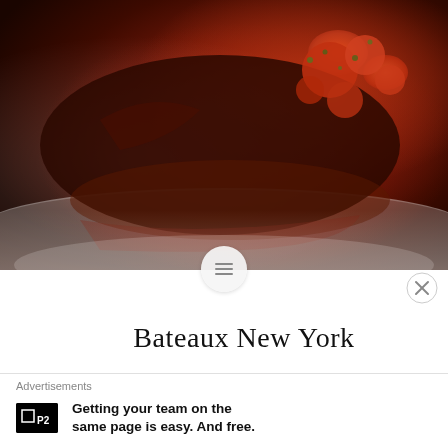[Figure (photo): A dark, richly sauced meat dish on a white plate with roasted tomatoes and herb garnish]
Bateaux New York
“Le Bateaux” (The Boat) in English is one of the most fulfilling & seamless experiences you will ever have the pleasure of attending in New York City as far as Food, Drink, Service & Ambiance.  My dining partner and I wanted to do something special the night before New Years Eve in New
Advertisements
Getting your team on the same page is easy. And free.